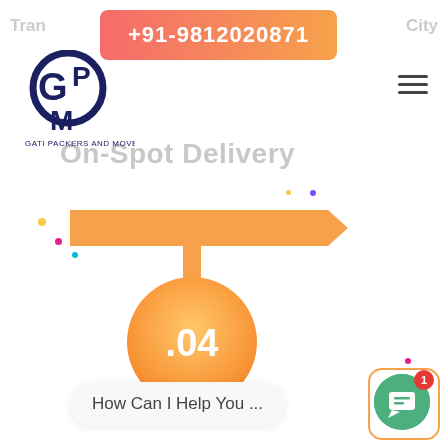Tran... City Branch
[Figure (logo): GPM Gati Packers and Movers logo, dark blue circular emblem with G, P, M letters]
+91-9812020871
On-Spot Delivery
[Figure (infographic): Orange arrow banner pointing right with an orange circle below containing the text .04]
.04
How Can I Help You ...
[Figure (other): Green circular chat button with speech bubble icon and red notification badge showing 1]